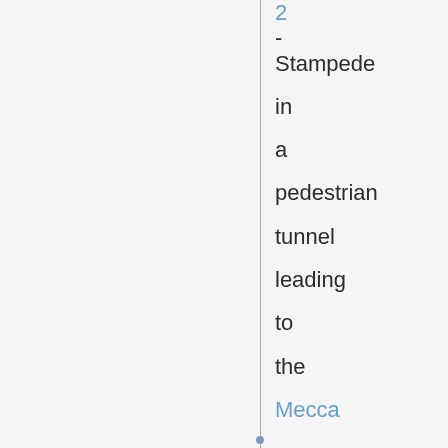2 - Stampede in a pedestrian tunnel leading to the Mecca - 1426 pilgrims dead July